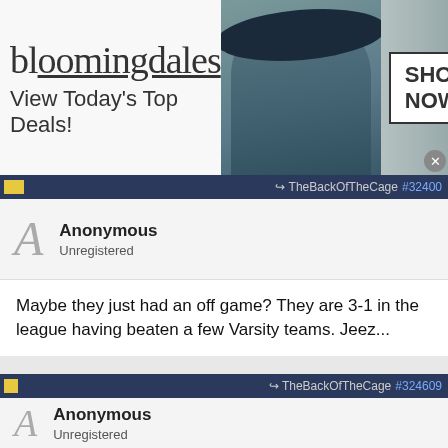[Figure (screenshot): Bloomingdales advertisement banner: 'bloomingdales - View Today's Top Deals! SHOP NOW >' with a woman in a hat]
TheBackOfTheCage #32400
Anonymous
Unregistered
Maybe they just had an off game? They are 3-1 in the league having beaten a few Varsity teams. Jeez...
TheBackOfTheCage #324609
Anonymous
Unregistered
Humanity and this site is in decline...
[Figure (screenshot): Belk.com advertisement: 'Belk® - Official Site - Shop for clothing, handbags, jewelry, beauty, home & more! www.belk.com']